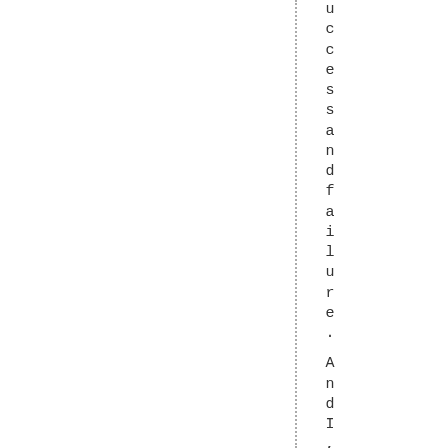uccessandfailure. AndI, vebeenc